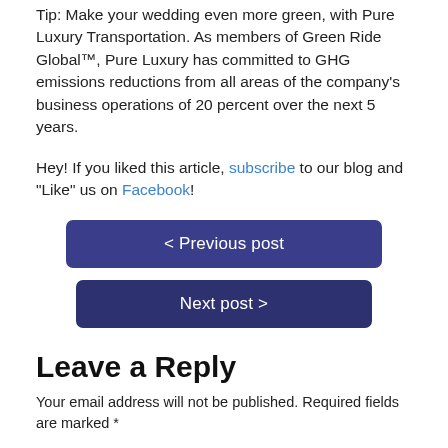Tip: Make your wedding even more green, with Pure Luxury Transportation. As members of Green Ride Global™, Pure Luxury has committed to GHG emissions reductions from all areas of the company's business operations of 20 percent over the next 5 years.
Hey! If you liked this article, subscribe to our blog and "Like" us on Facebook!
< Previous post
Next post >
Leave a Reply
Your email address will not be published. Required fields are marked *
Comment...